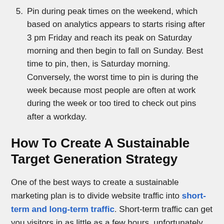Pin during peak times on the weekend, which based on analytics appears to starts rising after 3 pm Friday and reach its peak on Saturday morning and then begin to fall on Sunday. Best time to pin, then, is Saturday morning. Conversely, the worst time to pin is during the week because most people are often at work during the week or too tired to check out pins after a workday.
How To Create A Sustainable Target Generation Strategy
One of the best ways to create a sustainable marketing plan is to divide website traffic into short-term and long-term traffic. Short-term traffic can get you visitors in as little as a few hours, unfortunately, when you stop using these traffic generation tactics your traffic will dry